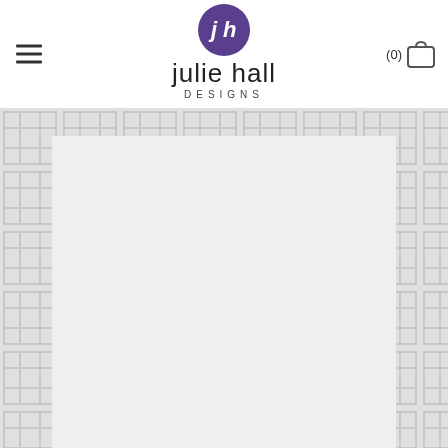[Figure (logo): Julie Hall Designs logo with purple circle containing 'jh' initials, company name 'julie hall' in lowercase and 'DESIGNS' in spaced caps below]
[Figure (illustration): Website screenshot showing Julie Hall Designs e-commerce page with hamburger menu on left, cart icon (0) on right, and geometric fretwork pattern background with white product display area in center]